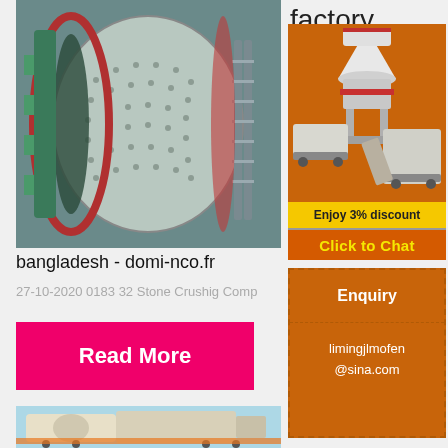factory in sylhet
[Figure (photo): Industrial ball mill machinery, large cylindrical rotating drum with perforated surface and internal components visible]
bangladesh - domi-nco.fr
27-10-2020 0183 32 Stone Crushig Comp
Read More
[Figure (photo): Concrete mixer or industrial mixing truck/machine, white/beige colored heavy equipment]
[Figure (photo): Orange advertisement banner with industrial crushing/mining equipment images showing cone crusher and mobile crusher units]
Enjoy 3% discount
Click to Chat
Enquiry
limingjlmofen @sina.com